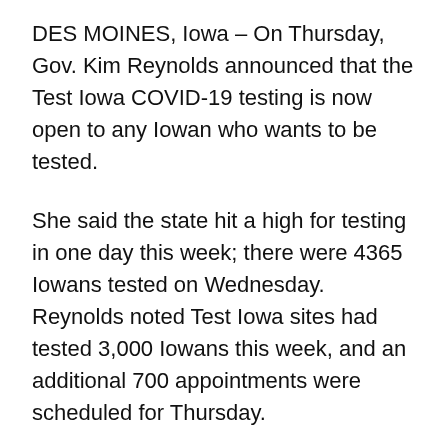DES MOINES, Iowa – On Thursday, Gov. Kim Reynolds announced that the Test Iowa COVID-19 testing is now open to any Iowan who wants to be tested.
She said the state hit a high for testing in one day this week; there were 4365 Iowans tested on Wednesday. Reynolds noted Test Iowa sites had tested 3,000 Iowans this week, and an additional 700 appointments were scheduled for Thursday.
Before, the Test Iowa criteria focused on those with symptoms, people exposed to COVID-19, people who traveled from a hotspot, healthcare workers,